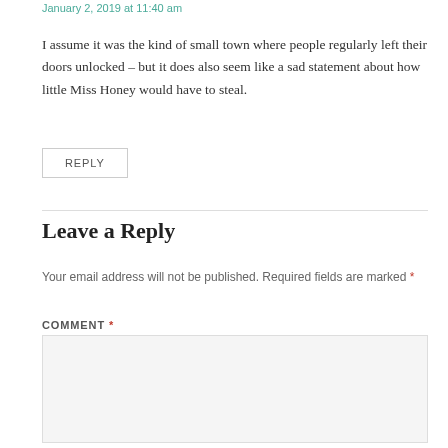January 2, 2019 at 11:40 am
I assume it was the kind of small town where people regularly left their doors unlocked – but it does also seem like a sad statement about how little Miss Honey would have to steal.
REPLY
Leave a Reply
Your email address will not be published. Required fields are marked *
COMMENT *